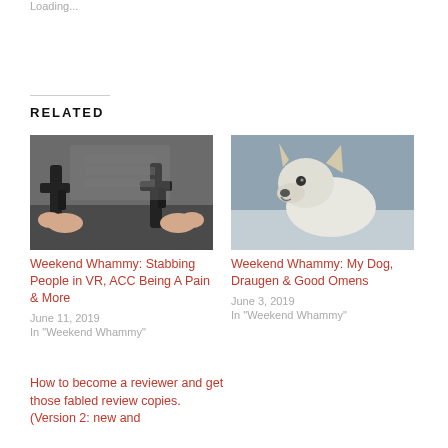Loading...
RELATED
[Figure (photo): Two people holding gun controllers in a VR game setting]
Weekend Whammy: Stabbing People in VR, ACC Being A Pain & More
June 11, 2019
In "Weekend Whammy"
[Figure (photo): A white dog looking upward outdoors]
Weekend Whammy: My Dog, Draugen & Good Omens
June 3, 2019
In "Weekend Whammy"
How to become a reviewer and get those fabled review copies. (Version 2: new and